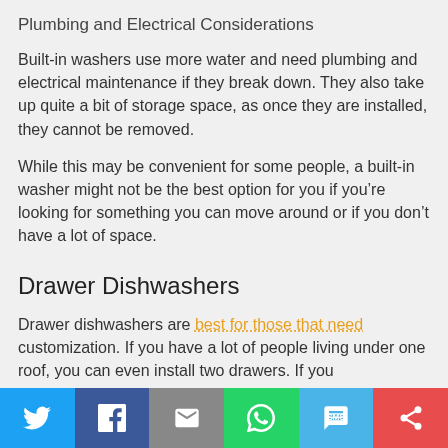Plumbing and Electrical Considerations
Built-in washers use more water and need plumbing and electrical maintenance if they break down. They also take up quite a bit of storage space, as once they are installed, they cannot be removed.
While this may be convenient for some people, a built-in washer might not be the best option for you if you’re looking for something you can move around or if you don’t have a lot of space.
Drawer Dishwashers
Drawer dishwashers are best for those that need customization. If you have a lot of people living under one roof, you can even install two drawers. If you